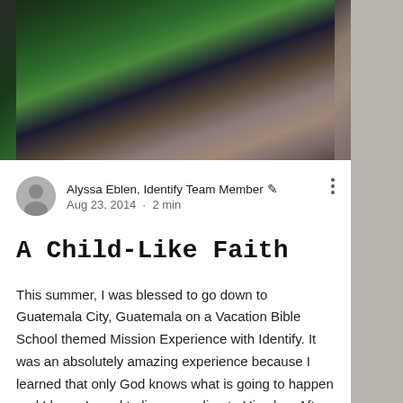[Figure (photo): Photo of a young child in a green striped shirt being held by a smiling young woman with curly hair]
Alyssa Eblen, Identify Team Member ✒ Aug 23, 2014 · 2 min
A Child-Like Faith
This summer, I was blessed to go down to Guatemala City, Guatemala on a Vacation Bible School themed Mission Experience with Identify. It was an absolutely amazing experience because I learned that only God knows what is going to happen and I know I need to live according to His plan. After seeing the way these children, who had absolutely nothing, react to a herd of